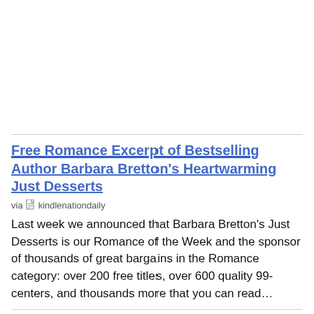Free Romance Excerpt of Bestselling Author Barbara Bretton's Heartwarming Just Desserts
via kindlenationdaily
Last week we announced that Barbara Bretton's Just Desserts is our Romance of the Week and the sponsor of thousands of great bargains in the Romance category: over 200 free titles, over 600 quality 99-centers, and thousands more that you can read…